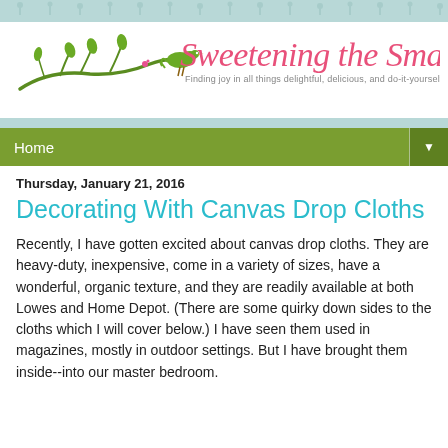[Figure (illustration): Blog header with decorative teal floral/plant pattern background and white center area containing the blog logo 'Sweetening the Small Stuff' in cursive pink script with a green branch bird illustration and subtitle text 'Finding joy in all things delightful, delicious, and do-it-yourself']
Home
Thursday, January 21, 2016
Decorating With Canvas Drop Cloths
Recently, I have gotten excited about canvas drop cloths. They are heavy-duty, inexpensive, come in a variety of sizes, have a wonderful, organic texture, and they are readily available at both Lowes and Home Depot. (There are some quirky down sides to the cloths which I will cover below.) I have seen them used in magazines, mostly in outdoor settings. But I have brought them inside--into our master bedroom.